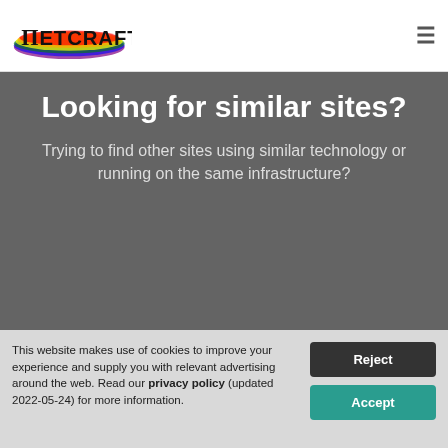Netcraft
Looking for similar sites?
Trying to find other sites using similar technology or running on the same infrastructure?
This website makes use of cookies to improve your experience and supply you with relevant advertising around the web. Read our privacy policy (updated 2022-05-24) for more information.